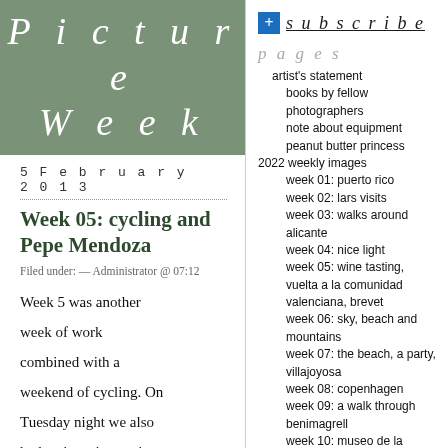Picture Week
5 February 2013
Week 05: cycling and Pepe Mendoza
Filed under: — Administrator @ 07:12
Week 5 was another week of work combined with a weekend of cycling. On Tuesday night we also had a nice wine tasting
subscribe
pages
artist's statement
books by fellow photographers
note about equipment
peanut butter princess
2022 weekly images
week 01: puerto rico
week 02: lars visits
week 03: walks around alicante
week 04: nice light
week 05: wine tasting, vuelta a la comunidad valenciana, brevet
week 06: sky, beach and mountains
week 07: the beach, a party, villajoyosa
week 08: copenhagen
week 09: a walk through benimagrell
week 10: museo de la universidad de alicante, picking oranges in xativa
week 11: sahara dust, le